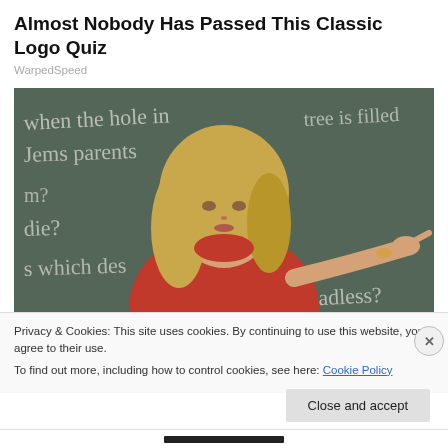Almost Nobody Has Passed This Classic Logo Quiz
WarpedSpeed
[Figure (photo): A blonde woman in a red top pointing at a chalkboard with handwritten text visible in the background: 'when the hole in tree is filled', 'Jems parents', 'm?', 'die?', 's which des', 'Badless?']
Privacy & Cookies: This site uses cookies. By continuing to use this website, you agree to their use.
To find out more, including how to control cookies, see here: Cookie Policy